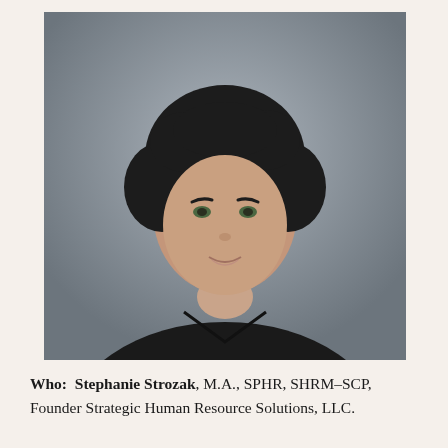[Figure (photo): Professional headshot of Stephanie Strozak, a woman with short dark curly hair wearing a black top, photographed against a gray background.]
Who:  Stephanie Strozak, M.A., SPHR, SHRM-SCP, Founder Strategic Human Resource Solutions, LLC.